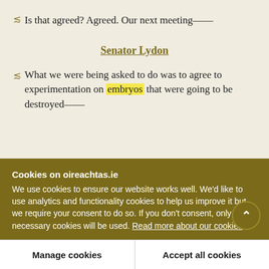Is that agreed? Agreed. Our next meeting——
Senator Lydon
What we were being asked to do was to agree to experimentation on embryos that were going to be destroyed——
Cookies on oireachtas.ie
We use cookies to ensure our website works well. We'd like to use analytics and functionality cookies to help us improve it but we require your consent to do so. If you don't consent, only necessary cookies will be used. Read more about our cookies
Manage cookies
Accept all cookies